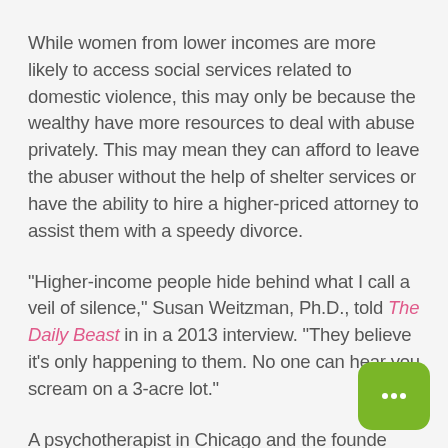While women from lower incomes are more likely to access social services related to domestic violence, this may only be because the wealthy have more resources to deal with abuse privately. This may mean they can afford to leave the abuser without the help of shelter services or have the ability to hire a higher-priced attorney to assist them with a speedy divorce.
"Higher-income people hide behind what I call a veil of silence," Susan Weitzman, Ph.D., told The Daily Beast in in a 2013 interview. "They believe it's only happening to them. No one can hear you scream on a 3-acre lot."
A psychotherapist in Chicago and the founder
[Figure (illustration): Green rounded rectangle chat bubble icon with three dots (ellipsis) indicating a chat/messaging feature, positioned in the bottom right corner.]